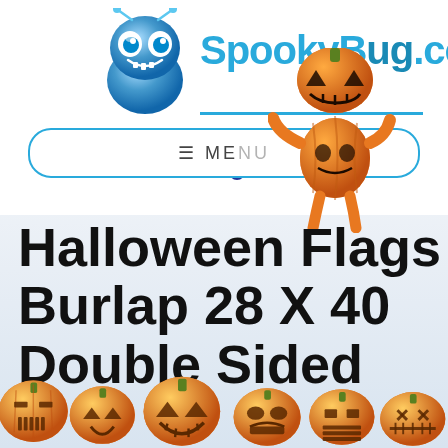[Figure (logo): SpookyBug.com website logo featuring a blue cartoon bug mascot with antenna and big eyes, site name in blue text, a pumpkin-head witch creature climbing, two blue bats, and a rounded navigation bar with MENU text]
Halloween Flags Burlap 28 X 40 Double Sided
[Figure (illustration): Row of five orange jack-o-lantern pumpkins with various carved faces along the bottom of the page]